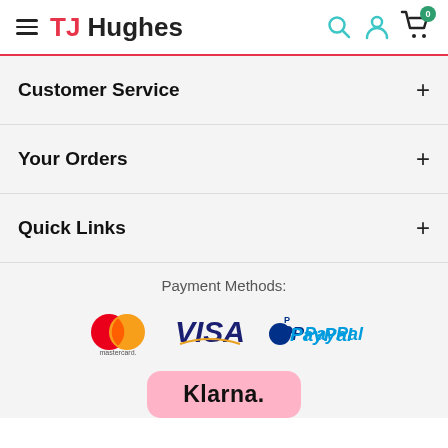TJ Hughes
Customer Service
Your Orders
Quick Links
Payment Methods:
[Figure (logo): Payment method logos: Mastercard, Visa, PayPal, Klarna]